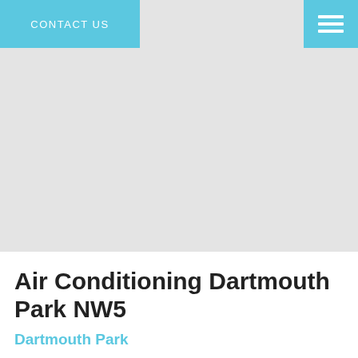CONTACT US
[Figure (other): Light grey hero/banner area placeholder image region]
Air Conditioning Dartmouth Park NW5
Dartmouth Park